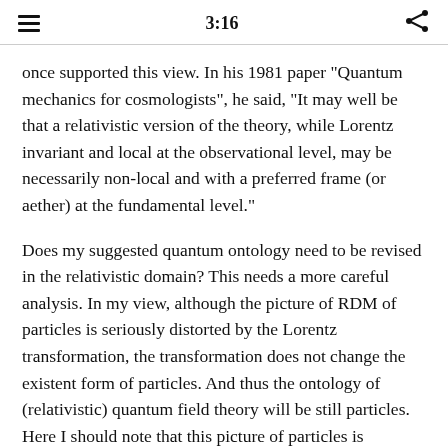3:16
once supported this view. In his 1981 paper "Quantum mechanics for cosmologists", he said, "It may well be that a relativistic version of the theory, while Lorentz invariant and local at the observational level, may be necessarily non-local and with a preferred frame (or aether) at the fundamental level."
Does my suggested quantum ontology need to be revised in the relativistic domain? This needs a more careful analysis. In my view, although the picture of RDM of particles is seriously distorted by the Lorentz transformation, the transformation does not change the existent form of particles. And thus the ontology of (relativistic) quantum field theory will be still particles. Here I should note that this picture of particles is independent of whether the state of motion of particles can be localized or not. For example, the fact that there are no Lorentz invariant localized states poses no threat to the existence of such particles.